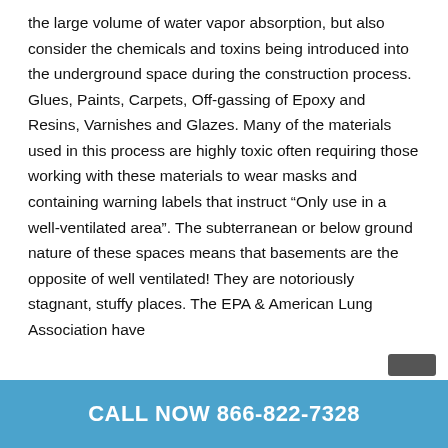the large volume of water vapor absorption, but also consider the chemicals and toxins being introduced into the underground space during the construction process. Glues, Paints, Carpets, Off-gassing of Epoxy and Resins, Varnishes and Glazes. Many of the materials used in this process are highly toxic often requiring those working with these materials to wear masks and containing warning labels that instruct “Only use in a well-ventilated area”. The subterranean or below ground nature of these spaces means that basements are the opposite of well ventilated! They are notoriously stagnant, stuffy places. The EPA & American Lung Association have
CALL NOW 866-822-7328